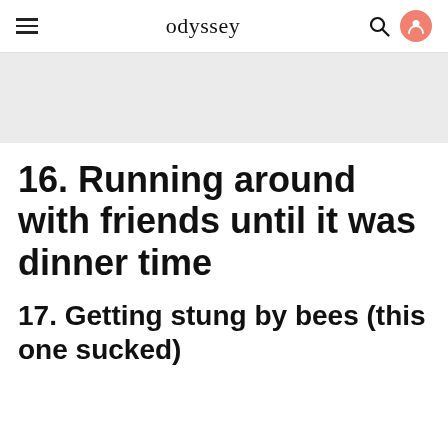odyssey
[Figure (other): Gray placeholder banner/advertisement block]
16. Running around with friends until it was dinner time
17. Getting stung by bees (this one sucked)